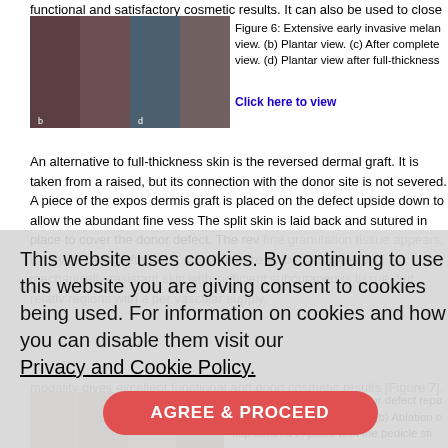functional and satisfactory cosmetic results. It can also be used to close circular
[Figure (photo): Four clinical photos showing toes/foot with melanoma lesions at different stages]
Figure 6: Extensive early invasive melan... view. (b) Plantar view. (c) After complete view. (d) Plantar view after full-thickness
Click here to view
An alternative to full-thickness skin is the reversed dermal graft. It is taken from a raised, but its connection with the donor site is not severed. A piece of the expos dermis graft is placed on the defect upside down to allow the abundant fine vess The split skin is laid back and sutured in place to cover the donor defect. The rev fine granulation tissue appears, it may be overgrafted with split skin or re-epiderm It gives a mechanically-resistant skin with sufficient subcutaneous tissue, but relative regions with a poor vascular supply.
This website uses cookies. By continuing to use this website you are giving consent to cookies being used. For information on cookies and how you can disable them visit our Privacy and Cookie Policy.
AGREE & PROCEED
A cross-finger flap is another alternative for large defects of the distal phalanx. A volar aspect of the neighbouring finger, but not yet raised. It is trained to re-orien tr... the donor defect is closed with a full-thickness skin gra 18-20 days when the flap is vascularized from its new bed, and a new finger tip modality gives excellent functional and good cosmetic results [Figure 7]. [26]
Figure 7: Cross-finger flap for defect repa invasive ungual melanoma. (b) Ablation o flap sutured in place with the pedicle sti
[Figure (photo): Clinical photos showing cross-finger flap procedure for finger tip defect repair]